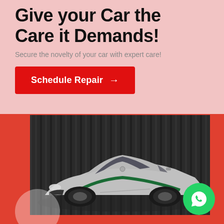Give your Car the Care it Demands!
Secure the novelty of your car with expert care!
Schedule Repair →
[Figure (photo): Silver Mercedes-Benz sports car with green racing stripe parked in front of dark industrial corrugated metal wall. A green WhatsApp chat bubble icon appears on the right side and a semi-transparent white circle decoration on the lower left. Background red rectangular block behind the car image.]